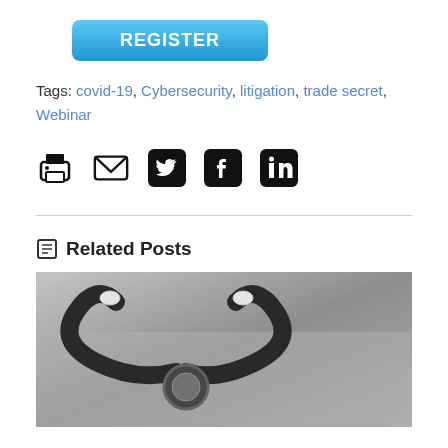[Figure (other): Blue REGISTER button with rounded corners]
Tags: covid-19, Cybersecurity, litigation, trade secret, Webinar
[Figure (infographic): Row of social sharing icons: print, email, Twitter, Facebook, LinkedIn]
Related Posts
[Figure (photo): Black and white photo of a stethoscope on paper]